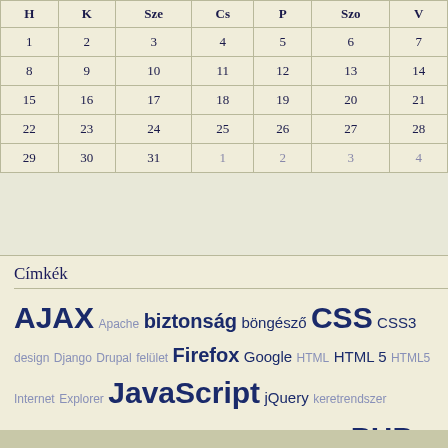| H | K | Sze | Cs | P | Szo | V |
| --- | --- | --- | --- | --- | --- | --- |
| 1 | 2 | 3 | 4 | 5 | 6 | 7 |
| 8 | 9 | 10 | 11 | 12 | 13 | 14 |
| 15 | 16 | 17 | 18 | 19 | 20 | 21 |
| 22 | 23 | 24 | 25 | 26 | 27 | 28 |
| 29 | 30 | 31 | 1 | 2 | 3 | 4 |
Címkék
AJAX Apache biztonság böngésző CSS CSS3 design Django Drupal felület Firefox Google HTML HTML 5 HTML5 Internet Explorer JavaScript jQuery keretrendszer konferencia magyar mobil MySQL PEAR PHP PHP 5 Python rendezvény WordPress Zend
további címkék